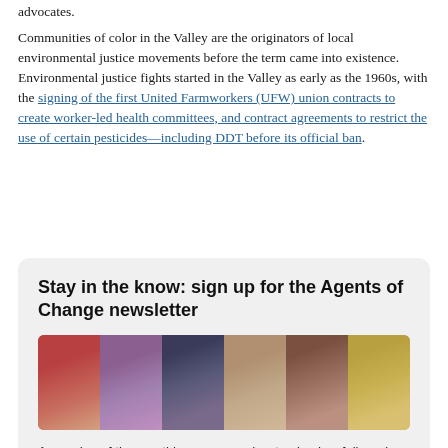advocates.
Communities of color in the Valley are the originators of local environmental justice movements before the term came into existence. Environmental justice fights started in the Valley as early as the 1960s, with the signing of the first United Farmworkers (UFW) union contracts to create worker-led health committees, and contract agreements to restrict the use of certain pesticides—including DDT before its official ban.
Stay in the know: sign up for the Agents of Change newsletter
[Figure (photo): A banner photo showing six diverse individuals smiling, displayed side by side in a row against colorful backgrounds.]
A roundup of the month's essays, podcast episodes, fellows in the news, exciting updates and more. Delivered to your